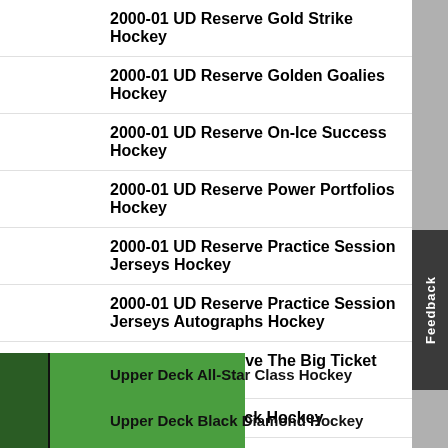2000-01 UD Reserve Gold Strike Hockey
2000-01 UD Reserve Golden Goalies Hockey
2000-01 UD Reserve On-Ice Success Hockey
2000-01 UD Reserve Power Portfolios Hockey
2000-01 UD Reserve Practice Session Jerseys Hockey
2000-01 UD Reserve Practice Session Jerseys Autographs Hockey
2000-01 UD Reserve The Big Ticket Hockey
2000-01 Upper Deck Hockey
2000-01 Upper Deck 500 Goal Club Hockey
Upper Deck All-Star Class Hockey
Upper Deck Black Diamond Hockey